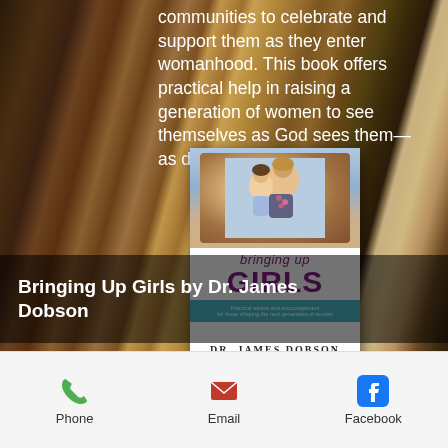communities to celebrate and support them as they enter womanhood. This book offers practical help in raising a generation of women to see themselves as God sees them—as daughters of the King.
[Figure (photo): Book cover of 'Bringing Up Girls' by Dr. James Dobson, showing a mother and daughter embracing on the cover, with the title in large purple letters and author name below]
Bringing Up Girls by Dr. James Dobson
Phone   Email   Facebook